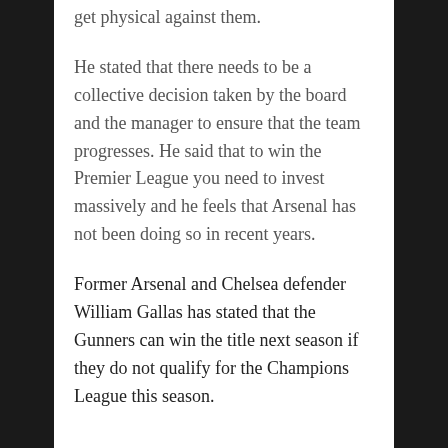get physical against them.
He stated that there needs to be a collective decision taken by the board and the manager to ensure that the team progresses. He said that to win the Premier League you need to invest massively and he feels that Arsenal has not been doing so in recent years.
Former Arsenal and Chelsea defender William Gallas has stated that the Gunners can win the title next season if they do not qualify for the Champions League this season.